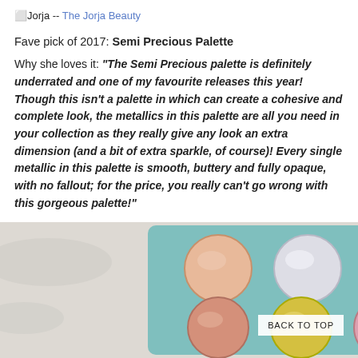⬜Jorja -- The Jorja Beauty
Fave pick of 2017: Semi Precious Palette
Why she loves it: "The Semi Precious palette is definitely underrated and one of my favourite releases this year! Though this isn't a palette in which can create a cohesive and complete look, the metallics in this palette are all you need in your collection as they really give any look an extra dimension (and a bit of extra sparkle, of course)! Every single metallic in this palette is smooth, buttery and fully opaque, with no fallout; for the price, you really can't go wrong with this gorgeous palette!"
[Figure (photo): Top-down photo of a makeup palette with circular eyeshadow pans in metallic shades: peach/pink, silver/white, red, orange/gold on top row; rose gold, yellow, pink, gold on bottom row, set in a teal/blue palette case on a marble surface.]
BACK TO TOP